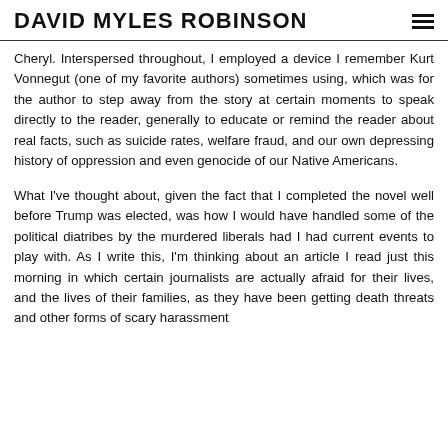DAVID MYLES ROBINSON
Cheryl. Interspersed throughout, I employed a device I remember Kurt Vonnegut (one of my favorite authors) sometimes using, which was for the author to step away from the story at certain moments to speak directly to the reader, generally to educate or remind the reader about real facts, such as suicide rates, welfare fraud, and our own depressing history of oppression and even genocide of our Native Americans.
What I've thought about, given the fact that I completed the novel well before Trump was elected, was how I would have handled some of the political diatribes by the murdered liberals had I had current events to play with. As I write this, I'm thinking about an article I read just this morning in which certain journalists are actually afraid for their lives, and the lives of their families, as they have been getting death threats and other forms of scary harassment